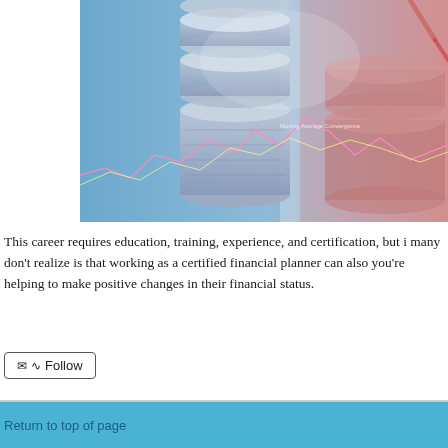[Figure (photo): Financial themed photo showing stacked silver coins with a blue-red color overlay and stock market chart lines overlaid on top, with a hand holding a red pen on the right side.]
This career requires education, training, experience, and certification, but i many don't realize is that working as a certified financial planner can also you're helping to make positive changes in their financial status.
✉ ⌂ Follow
Return to top of page